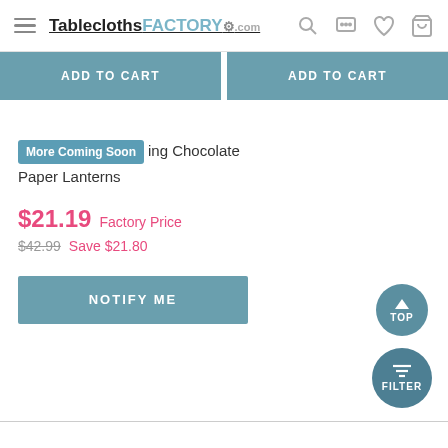TableclothsFACTORY.com
ADD TO CART   ADD TO CART
More Coming Soon  ing Chocolate Paper Lanterns
$21.19 Factory Price
$42.99 Save $21.80
NOTIFY ME